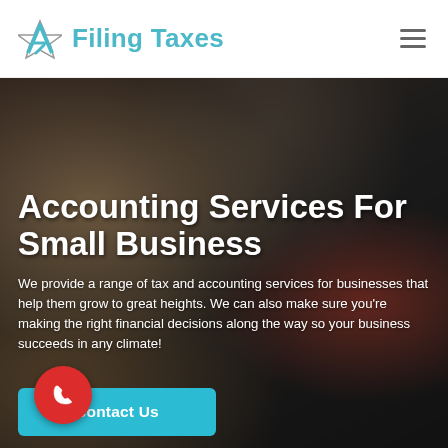Filing Taxes
[Figure (photo): Blurred background photo showing a person at a counter/register environment, dark tones with some warm highlights]
Accounting Services For Small Business
We provide a range of tax and accounting services for businesses that help them grow to great heights. We can also make sure you're making the right financial decisions along the way so your business succeeds in any climate!
Contact Us